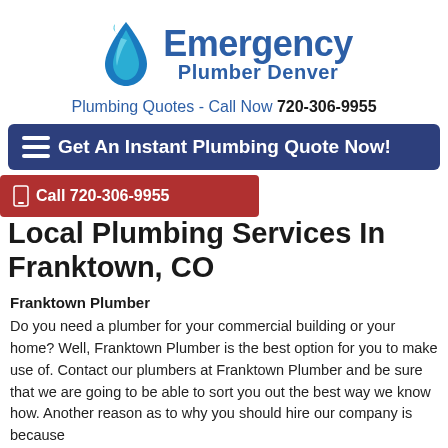[Figure (logo): Emergency Plumber Denver logo with water droplet/flame icon in blue and teal]
Plumbing Quotes - Call Now 720-306-9955
Get An Instant Plumbing Quote Now!
Call 720-306-9955
Local Plumbing Services In Franktown, CO
Franktown Plumber
Do you need a plumber for your commercial building or your home? Well, Franktown Plumber is the best option for you to make use of. Contact our plumbers at Franktown Plumber and be sure that we are going to be able to sort you out the best way we know how. Another reason as to why you should hire our company is because